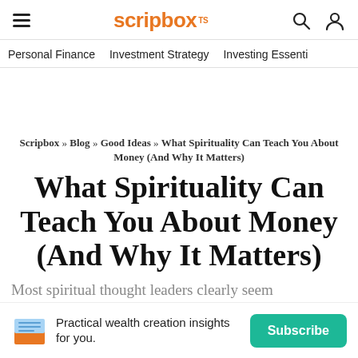scripbox — Personal Finance | Investment Strategy | Investing Essenti...
Scripbox » Blog » Good Ideas » What Spirituality Can Teach You About Money (And Why It Matters)
What Spirituality Can Teach You About Money (And Why It Matters)
Most spiritual thought leaders clearly seem
Practical wealth creation insights for you.